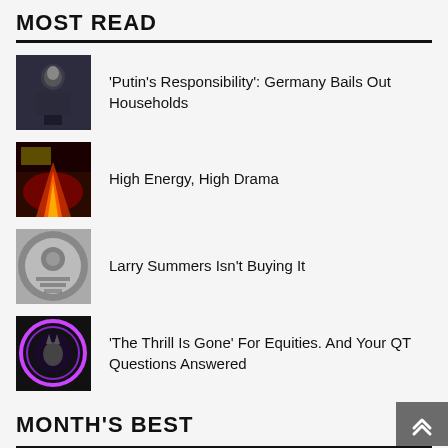MOST READ
'Putin's Responsibility': Germany Bails Out Households
High Energy, High Drama
Larry Summers Isn't Buying It
'The Thrill Is Gone' For Equities. And Your QT Questions Answered
Don't Mention The Fiscal Stagflation Paper
MONTH'S BEST